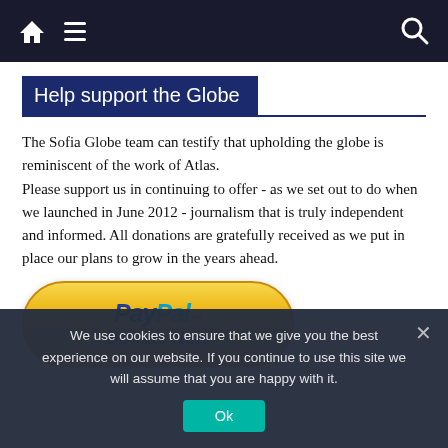Home | Menu | Search
Help support the Globe
The Sofia Globe team can testify that upholding the globe is reminiscent of the work of Atlas.
Please support us in continuing to offer - as we set out to do when we launched in June 2012 - journalism that is truly independent and informed. All donations are gratefully received as we put in place our plans to grow in the years ahead.
[Figure (logo): PayPal Donate Now button - golden rounded rectangle with PayPal logo and 'Donate Now' text]
We use cookies to ensure that we give you the best experience on our website. If you continue to use this site we will assume that you are happy with it.